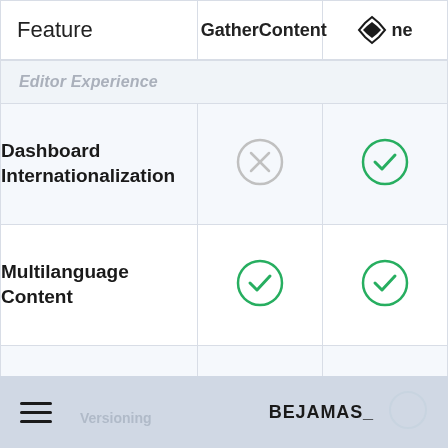| Feature | GatherContent | ne… |
| --- | --- | --- |
| Editor Experience |  |  |
| Dashboard Internationalization | ✗ | ✓ |
| Multilanguage Content | ✓ | ✓ |
| Scheduling & Releases | ✗ | ✓ |
BEJAMAS_